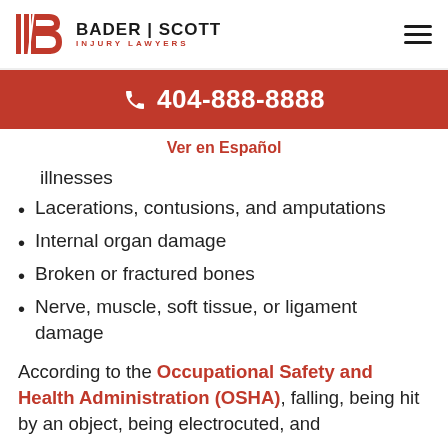BADER | SCOTT INJURY LAWYERS
404-888-8888
Ver en Español
illnesses
Lacerations, contusions, and amputations
Internal organ damage
Broken or fractured bones
Nerve, muscle, soft tissue, or ligament damage
According to the Occupational Safety and Health Administration (OSHA), falling, being hit by an object, being electrocuted, and